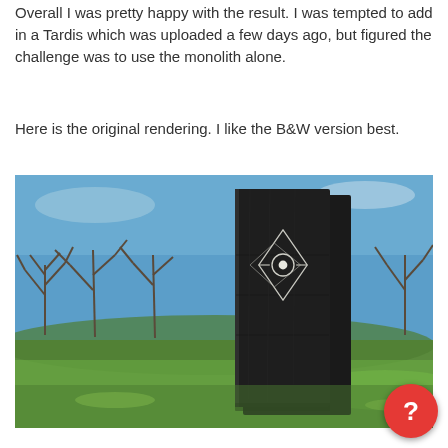Overall I was pretty happy with the result. I was tempted to add in a Tardis which was uploaded a few days ago, but figured the challenge was to use the monolith alone.
Here is the original rendering. I like the B&W version best.
[Figure (photo): A tall black monolith standing in a park with green grass and bare trees against a blue sky. The monolith has an eye-like geometric symbol engraved on it.]